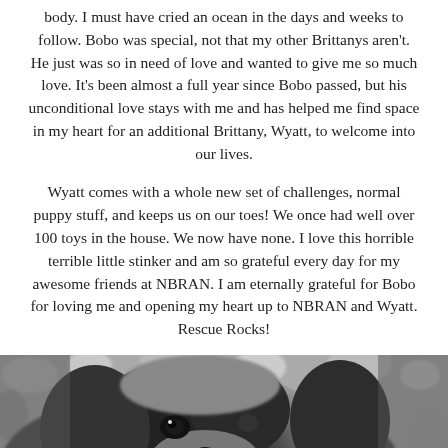body. I must have cried an ocean in the days and weeks to follow. Bobo was special, not that my other Brittanys aren't. He just was so in need of love and wanted to give me so much love. It's been almost a full year since Bobo passed, but his unconditional love stays with me and has helped me find space in my heart for an additional Brittany, Wyatt, to welcome into our lives.
Wyatt comes with a whole new set of challenges, normal puppy stuff, and keeps us on our toes! We once had well over 100 toys in the house. We now have none. I love this horrible terrible little stinker and am so grateful every day for my awesome friends at NBRAN. I am eternally grateful for Bobo for loving me and opening my heart up to NBRAN and Wyatt. Rescue Rocks!
[Figure (photo): Black and white close-up photograph of a dog's face, likely a Brittany spaniel, looking upward. The image is cropped at the bottom of the page.]